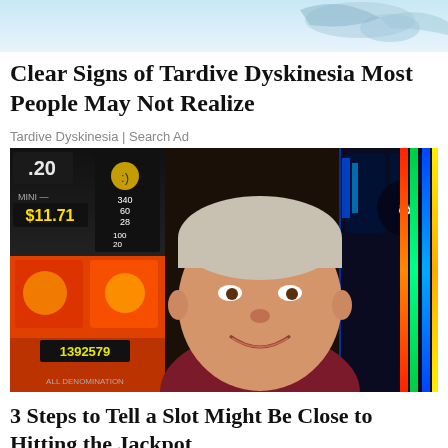[Figure (photo): Top partial image showing what appears to be a bird or animal figure against a light blue background, cropped at the top of the page]
Clear Signs of Tardive Dyskinesia Most People May Not Realize
Tardive Dyskinesia | Search Ad
[Figure (photo): Photo of an older smiling man with gray hair wearing a dark maroon shirt, standing in front of casino slot machines showing numbers including .20, $11.71, and 1392579]
3 Steps to Tell a Slot Might Be Close to Hitting the Jackpot